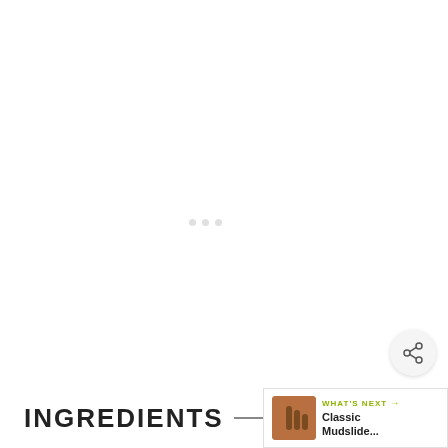[Figure (illustration): White content area with olive/yellow-green border, loading dots in center]
INGREDIENTS
1x  2x
WHAT'S NEXT → Classic Mudslide...
[Figure (illustration): Share button icon (circular button with share/network icon)]